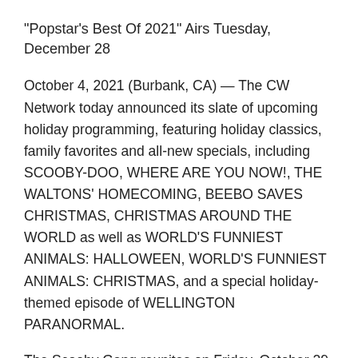"Popstar's Best Of 2021" Airs Tuesday, December 28
October 4, 2021 (Burbank, CA) — The CW Network today announced its slate of upcoming holiday programming, featuring holiday classics, family favorites and all-new specials, including SCOOBY-DOO, WHERE ARE YOU NOW!, THE WALTONS' HOMECOMING, BEEBO SAVES CHRISTMAS, CHRISTMAS AROUND THE WORLD as well as WORLD'S FUNNIEST ANIMALS: HALLOWEEN, WORLD'S FUNNIEST ANIMALS: CHRISTMAS, and a special holiday-themed episode of WELLINGTON PARANORMAL.
The Scooby Gang reunites on Friday, October 29 (8:00-9:00pm ET), in SCOOBY-DOO, WHERE ARE YOU NOW!. The gang gathers at Warner Bros. Studios to reminisce about their favorite cases and how they were filmed. But it turns out that the backlot may have its OWN monster